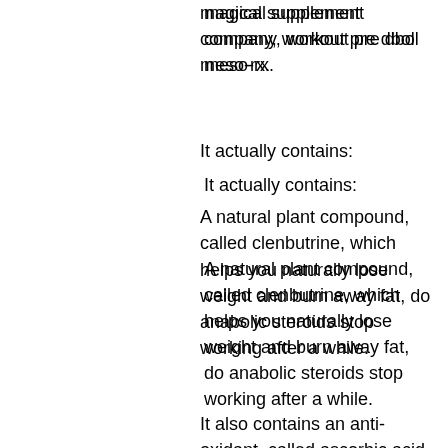magical supplement company, workout pre dbol meso-rx.
It actually contains:
A natural plant compound, called clenbutrine, which helps you naturally lose weight and burn away fat, do anabolic steroids stop working after a while.
It also contains an anti-oxidant, called ascorbic acid, which helps keep your cell membranes healthy and prevent cells from damaging your blood vessels.
All these vitamins and minerals provide valuable support for your body to burn fat for energy, which is essential to the progress you're making.